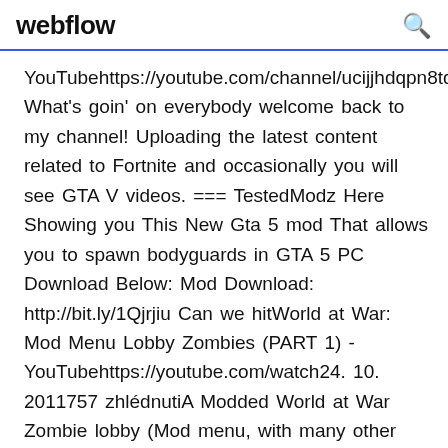webflow
YouTubehttps://youtube.com/channel/ucijjhdqpn8tqqc What's goin' on everybody welcome back to my channel! Uploading the latest content related to Fortnite and occasionally you will see GTA V videos. === TestedModz Here Showing you This New Gta 5 mod That allows you to spawn bodyguards in GTA 5 PC Download Below: Mod Download: http://bit.ly/1Qjrjiu Can we hitWorld at War: Mod Menu Lobby Zombies (PART 1) - YouTubehttps://youtube.com/watch24. 10. 2011757 zhlédnutiA Modded World at War Zombie lobby (Mod menu, with many other mods) hosted by DeT ReMiiX. Don't forget to Subscribe, rate, and comment!COD WAW Zombies Mod Menu PC Tutorial [Windows 10] -